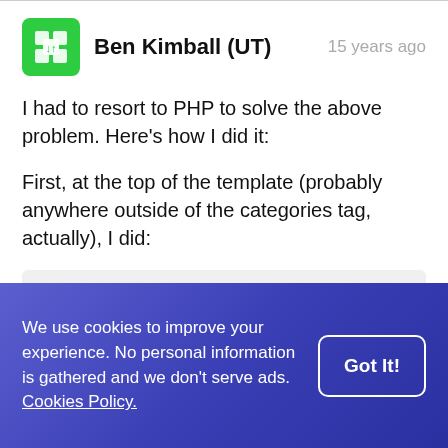Ben Kimball (UT) — 15 years ago
I had to resort to PHP to solve the above problem. Here's how I did it:
First, at the top of the template (probably anywhere outside of the categories tag, actually), I did:
That's because inside the categories loop, site_index
We use cookies to improve your experience. No personal information is gathered and we don't serve ads. Cookies Policy.